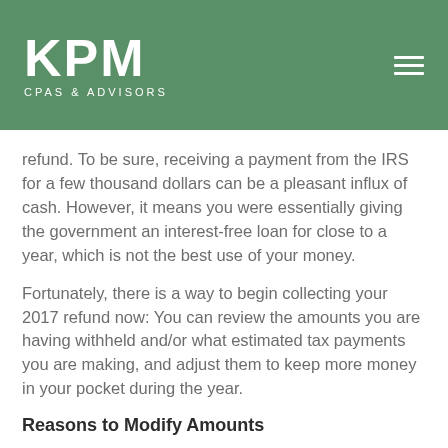[Figure (logo): KPM CPAs & Advisors logo on green background with hamburger menu icon]
refund. To be sure, receiving a payment from the IRS for a few thousand dollars can be a pleasant influx of cash. However, it means you were essentially giving the government an interest-free loan for close to a year, which is not the best use of your money.
Fortunately, there is a way to begin collecting your 2017 refund now: You can review the amounts you are having withheld and/or what estimated tax payments you are making, and adjust them to keep more money in your pocket during the year.
Reasons to Modify Amounts
It is particularly important to check your withholding and/or estimated tax payments if: